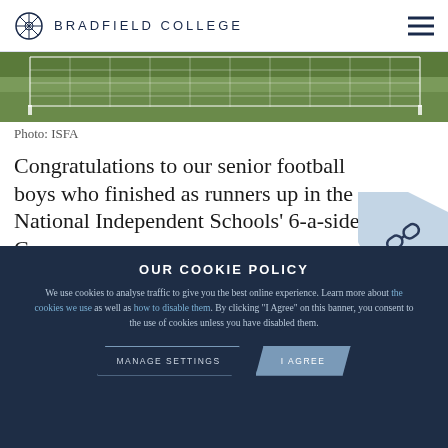BRADFIELD COLLEGE
[Figure (photo): Football goalpost and green pitch, photo credit ISFA]
Photo: ISFA
Congratulations to our senior football boys who finished as runners up in the National Independent Schools' 6-a-side Cup.
Despite losing their first match 2-0 to Hampton
OUR COOKIE POLICY
We use cookies to analyse traffic to give you the best online experience. Learn more about the cookies we use as well as how to disable them. By clicking "I Agree" on this banner, you consent to the use of cookies unless you have disabled them.